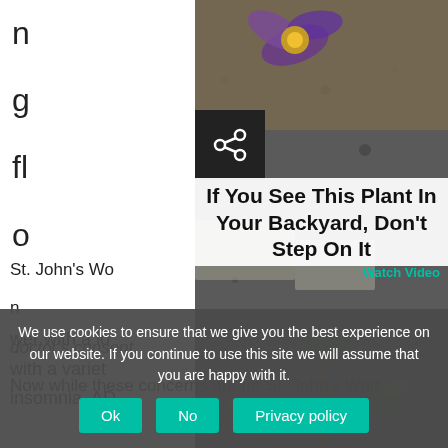n
g
fl
o
wer with a lo
with a variet
insomnia, AD
When using
important to
the teas mer
[Figure (photo): A photo of small green plants growing on dark gravel/pavement, with a purple flower visible at the top. A share button with a '<' icon appears in the upper-left area of the photo.]
If You See This Plant In Your Backyard, Don't Step On It
Watch Video
St. John's Wo
n
doctor's consent.
We use cookies to ensure that we give you the best experience on our website. If you continue to use this site we will assume that you are happy with it.
Ok
No
Privacy policy
Now while these concerns are for St. John's Wort